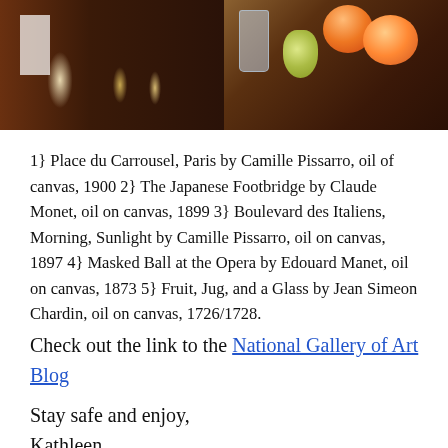[Figure (photo): Two photographs side by side at top of page. Left: a crowd scene with dark-clothed figures, one figure in white on the left. Right: a still life painting with a glass, peaches, pears, and fruit on a dark wooden surface.]
1} Place du Carrousel, Paris by Camille Pissarro, oil of canvas, 1900 2} The Japanese Footbridge by Claude Monet, oil on canvas, 1899 3} Boulevard des Italiens, Morning, Sunlight by Camille Pissarro, oil on canvas, 1897 4} Masked Ball at the Opera by Edouard Manet, oil on canvas, 1873 5} Fruit, Jug, and a Glass by Jean Simeon Chardin, oil on canvas, 1726/1728.
Check out the link to the National Gallery of Art Blog
Stay safe and enjoy,
Kathleen